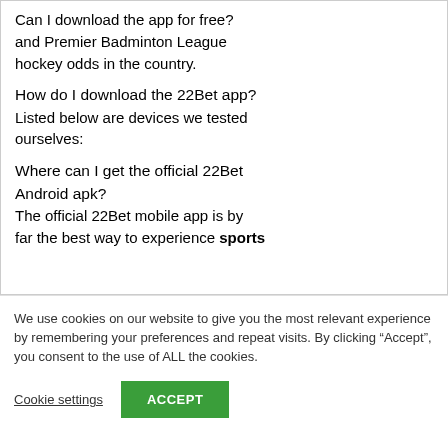Can I download the app for free? and Premier Badminton League hockey odds in the country.
How do I download the 22Bet app?
Listed below are devices we tested ourselves:
Where can I get the official 22Bet Android apk?
The official 22Bet mobile app is by far the best way to experience sports
We use cookies on our website to give you the most relevant experience by remembering your preferences and repeat visits. By clicking “Accept”, you consent to the use of ALL the cookies.
Cookie settings
ACCEPT